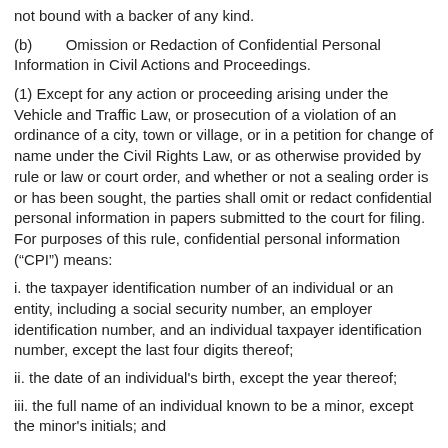not bound with a backer of any kind.
(b)        Omission or Redaction of Confidential Personal Information in Civil Actions and Proceedings.
(1) Except for any action or proceeding arising under the Vehicle and Traffic Law, or prosecution of a violation of an ordinance of a city, town or village, or in a petition for change of name under the Civil Rights Law, or as otherwise provided by rule or law or court order, and whether or not a sealing order is or has been sought, the parties shall omit or redact confidential personal information in papers submitted to the court for filing. For purposes of this rule, confidential personal information (“CPI”) means:
i. the taxpayer identification number of an individual or an entity, including a social security number, an employer identification number, and an individual taxpayer identification number, except the last four digits thereof;
ii. the date of an individual's birth, except the year thereof;
iii. the full name of an individual known to be a minor, except the minor's initials; and
iv. a financial account number, including a credit and/or debit